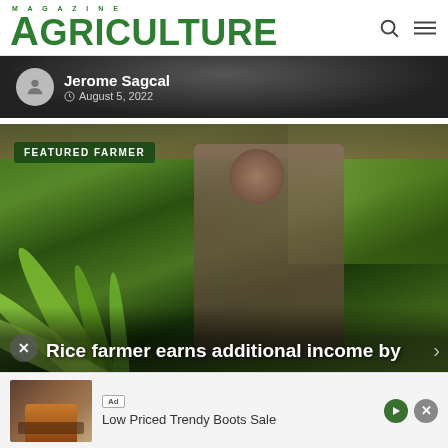AGRICULTURE MAGAZINE
[Figure (photo): Dark background header image strip with author info: Jerome Sagcal, August 5, 2022]
Jerome Sagcal  August 5, 2022
[Figure (photo): Featured farmer photo: man standing among tropical plants and palm trees under a shed roof, labeled FEATURED FARMER]
FEATURED FARMER
Rice farmer earns additional income by
[Figure (photo): Advertisement: Low Priced Trendy Boots Sale with image of brown boots]